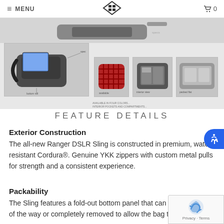MENU  [logo]  0
[Figure (photo): Product images of the Ranger DSLR Sling bag shown from multiple angles: main large image of black sling bag with tablet, and smaller thumbnails showing a red plaid version and interior compartments.]
FEATURE DETAILS
Exterior Construction
The all-new Ranger DSLR Sling is constructed in premium, water-resistant Cordura®. Genuine YKK zippers with custom metal pulls for strength and a consistent experience.
Packability
The Sling features a fold-out bottom panel that can be folded out of the way or completely removed to allow the bag to be